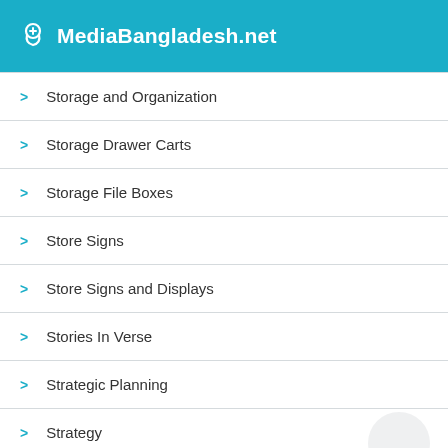MediaBangladesh.net
Storage and Organization
Storage Drawer Carts
Storage File Boxes
Store Signs
Store Signs and Displays
Stories In Verse
Strategic Planning
Strategy
Strategy and Competition